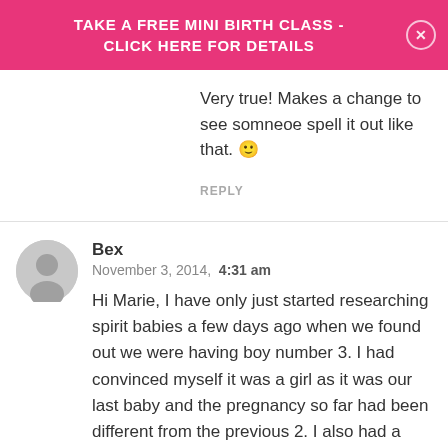TAKE A FREE MINI BIRTH CLASS - CLICK HERE FOR DETAILS
Very true! Makes a change to see somneoe spell it out like that. 🙂
REPLY
Bex
November 3, 2014,  4:31 am
Hi Marie, I have only just started researching spirit babies a few days ago when we found out we were having boy number 3. I had convinced myself it was a girl as it was our last baby and the pregnancy so far had been different from the previous 2. I also had a miscarriage in between the first and second son, and going by ovulation vs